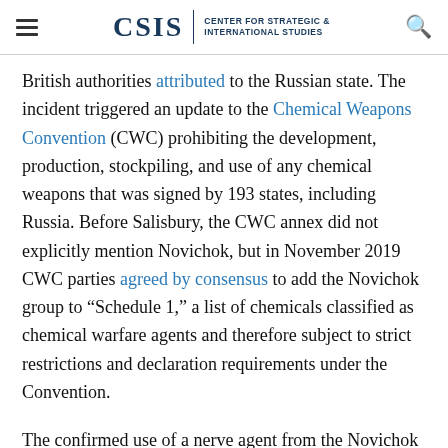CSIS | CENTER FOR STRATEGIC & INTERNATIONAL STUDIES
British authorities attributed to the Russian state. The incident triggered an update to the Chemical Weapons Convention (CWC) prohibiting the development, production, stockpiling, and use of any chemical weapons that was signed by 193 states, including Russia. Before Salisbury, the CWC annex did not explicitly mention Novichok, but in November 2019 CWC parties agreed by consensus to add the Novichok group to “Schedule 1,” a list of chemicals classified as chemical warfare agents and therefore subject to strict restrictions and declaration requirements under the Convention.
The confirmed use of a nerve agent from the Novichok family against Alexey Navalny is the last example of a worrisome trend of increasing possession and use of chemical weapons by both state and non-state actors.